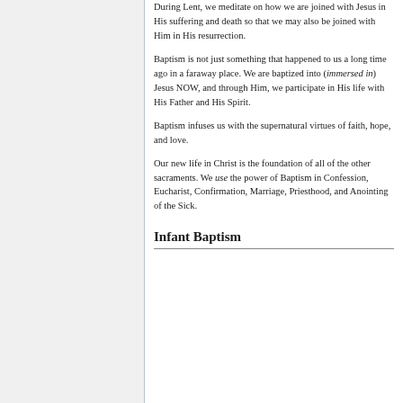During Lent, we meditate on how we are joined with Jesus in His suffering and death so that we may also be joined with Him in His resurrection.
Baptism is not just something that happened to us a long time ago in a faraway place. We are baptized into (immersed in) Jesus NOW, and through Him, we participate in His life with His Father and His Spirit.
Baptism infuses us with the supernatural virtues of faith, hope, and love.
Our new life in Christ is the foundation of all of the other sacraments. We use the power of Baptism in Confession, Eucharist, Confirmation, Marriage, Priesthood, and Anointing of the Sick.
Infant Baptism